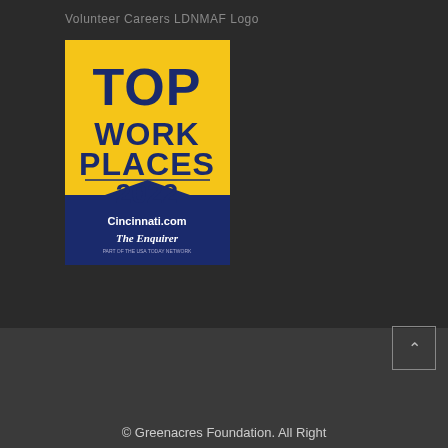Volunteer Careers LDNMAF Logo
[Figure (logo): Top Work Places 2022 badge/logo. Gold pennant-shaped badge with dark navy blue text reading TOP WORK PLACES 2022, with a navy blue bottom section containing Cincinnati.com and The Enquirer text.]
© Greenacres Foundation. All Right